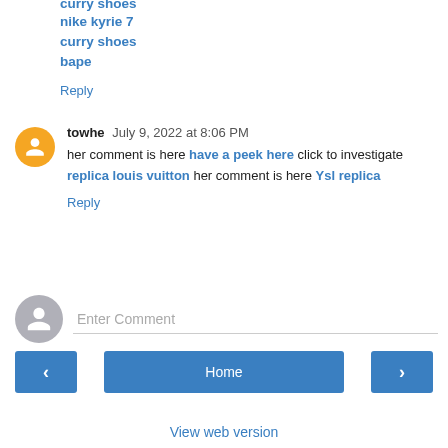curry shoes
nike kyrie 7
curry shoes
bape
Reply
towhe July 9, 2022 at 8:06 PM
her comment is here have a peek here click to investigate replica louis vuitton her comment is here Ysl replica
Reply
Enter Comment
Home
View web version